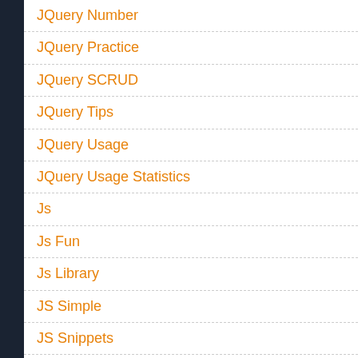JQuery Number
JQuery Practice
JQuery SCRUD
JQuery Tips
JQuery Usage
JQuery Usage Statistics
Js
Js Fun
Js Library
JS Simple
JS Snippets
JS Vs JQuery
JSON
JSON In SQL Server 2016
JSON To XML
JSON Web Token